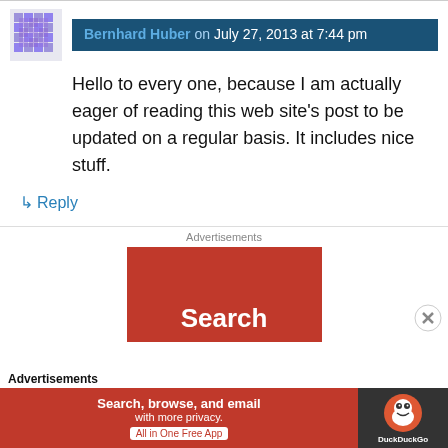Bernhard Huber on July 27, 2013 at 7:44 pm
Hello to every one, because I am actually eager of reading this web site's post to be updated on a regular basis. It includes nice stuff.
↳ Reply
Advertisements
[Figure (screenshot): Orange advertisement banner showing partial text 'Search' for DuckDuckGo ad]
Advertisements
[Figure (screenshot): DuckDuckGo advertisement banner: Search, browse, and email with more privacy. All in One Free App. DuckDuckGo logo on dark background.]